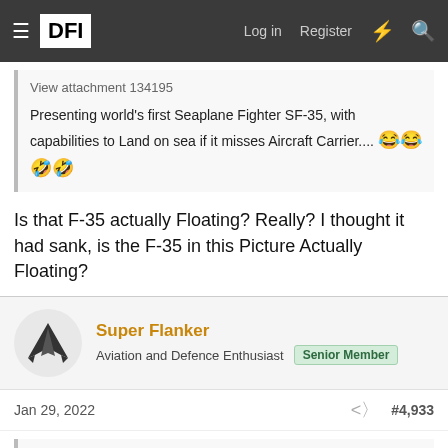DFI — Log in  Register
View attachment 134195
Presenting world's first Seaplane Fighter SF-35, with capabilities to Land on sea if it misses Aircraft Carrier.... 😂😂🤣🤣
Is that F-35 actually Floating? Really? I thought it had sank, is the F-35 in this Picture Actually Floating?
Super Flanker
Aviation and Defence Enthusiast  Senior Member
Jan 29, 2022  #4,933
Dark Sorrow said:
Accidents are normal part of any aviation.
Things get even more complicated during deck based operations of aircraft carrier.
With the amount of sorties conducted by USN such accidents are